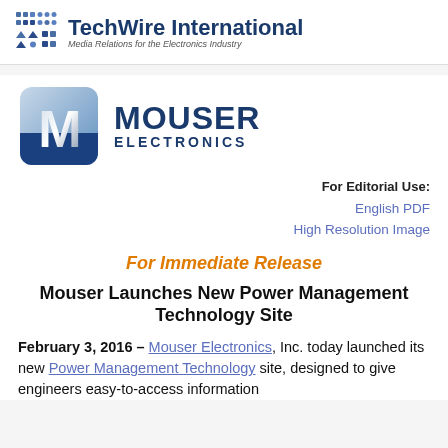TechWire International — Media Relations for the Electronics Industry
[Figure (logo): Mouser Electronics logo: rounded square M icon in blue/silver gradient with MOUSER ELECTRONICS text]
For Editorial Use:
English PDF
High Resolution Image
For Immediate Release
Mouser Launches New Power Management Technology Site
February 3, 2016 – Mouser Electronics, Inc. today launched its new Power Management Technology site, designed to give engineers easy-to-access information